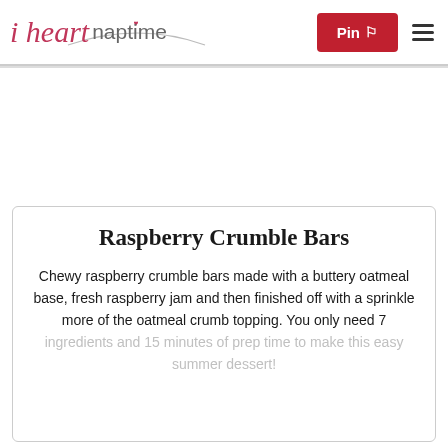i heart naptime
Raspberry Crumble Bars
Chewy raspberry crumble bars made with a buttery oatmeal base, fresh raspberry jam and then finished off with a sprinkle more of the oatmeal crumb topping. You only need 7 ingredients and 15 minutes of prep time to make this easy summer dessert!